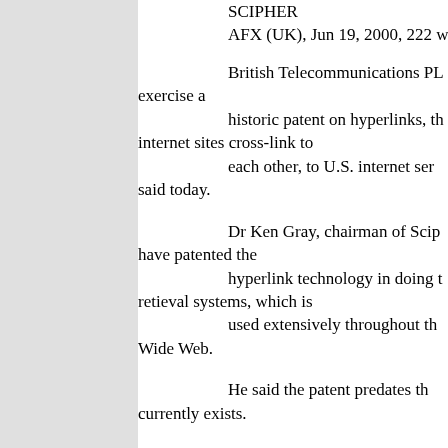SCIPHER
AFX (UK), Jun 19, 2000, 222 w
British Telecommunications PL exercise a historic patent on hyperlinks, th internet sites cross-link to each other, to U.S. internet ser said today.
Dr Ken Gray, chairman of Scip have patented the hyperlink technology in doing t retieval systems, which is used extensively throughout th Wide Web.
He said the patent predates th currently exists.
"On behalf of BT we are attem technology), and inviting licences to be taken out by ISR
"We will be inviting ISP's in the